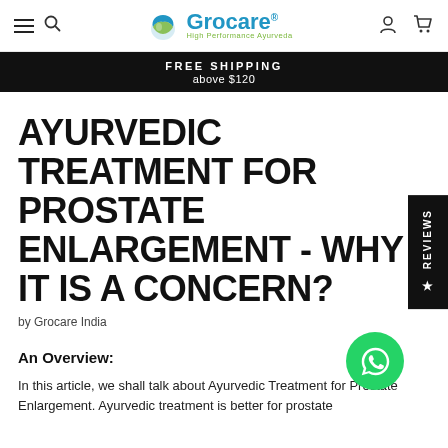Grocare® High Performance Ayurveda — FREE SHIPPING above $120
AYURVEDIC TREATMENT FOR PROSTATE ENLARGEMENT - WHY IT IS A CONCERN?
by Grocare India
An Overview:
In this article, we shall talk about Ayurvedic Treatment for Prostate Enlargement. Ayurvedic treatment is better for prostate